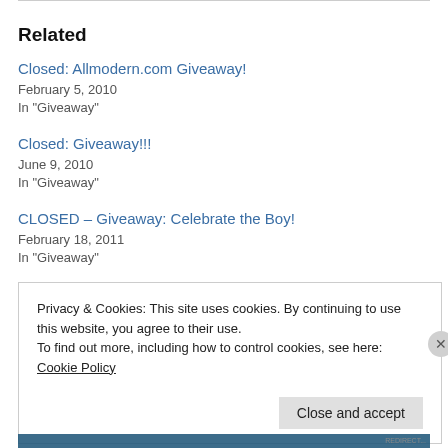Related
Closed: Allmodern.com Giveaway!
February 5, 2010
In "Giveaway"
Closed: Giveaway!!!
June 9, 2010
In "Giveaway"
CLOSED – Giveaway: Celebrate the Boy!
February 18, 2011
In "Giveaway"
Privacy & Cookies: This site uses cookies. By continuing to use this website, you agree to their use.
To find out more, including how to control cookies, see here: Cookie Policy
Close and accept